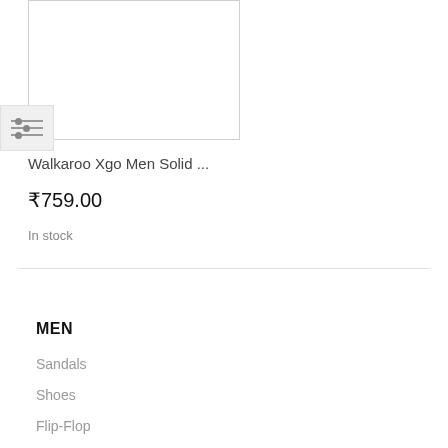[Figure (other): Product image placeholder box with border]
[Figure (other): Filter/settings icon with three horizontal sliders]
Walkaroo Xgo Men Solid ...
₹759.00
In stock
MEN
Sandals
Shoes
Flip-Flop